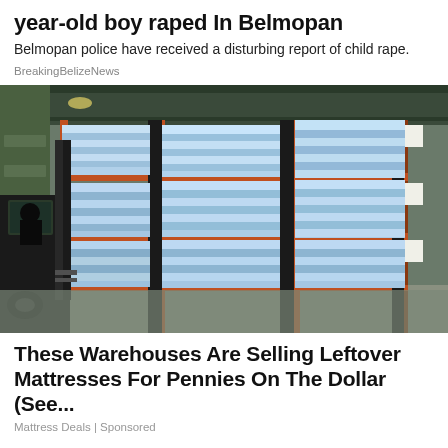year-old boy raped In Belmopan
Belmopan police have received a disturbing report of child rape.
BreakingBelizeNews
[Figure (photo): Warehouse interior showing large industrial shelving racks filled with stacked mattresses wrapped in blue plastic. A forklift is visible on the left side of the image.]
These Warehouses Are Selling Leftover Mattresses For Pennies On The Dollar (See...
Mattress Deals | Sponsored